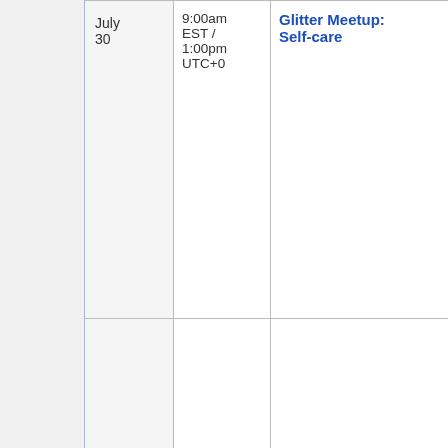|  | Date | Time | Session Title | Who |
| --- | --- | --- | --- | --- |
|  | July 30 | 9:00am EST / 1:00pm UTC+0 | Glitter Meetup: Self-care | Wh... Glit... Me... |
|  | July 29 | 12pm EST / 4pm UTC+0 | The Intergenerational Ruptures and Bridges in Feminism | Wh... CK... Wo... |
|  |  |  |  |  |